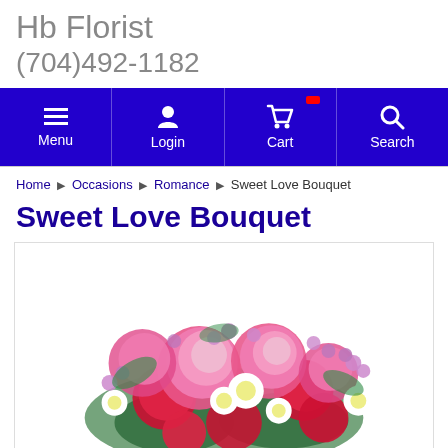Hb Florist
(704)492-1182
[Figure (screenshot): Navigation bar with Menu, Login, Cart, and Search icons on a blue background]
Home ▶ Occasions ▶ Romance ▶ Sweet Love Bouquet
Sweet Love Bouquet
[Figure (photo): Photo of a Sweet Love Bouquet featuring pink roses, red carnations, white daisy-like flowers, and purple wax flowers arranged in a bouquet]